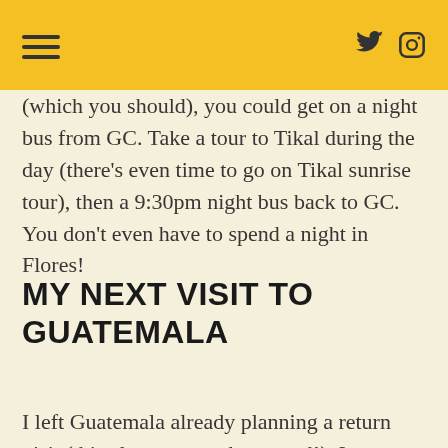(which you should), you could get on a night bus from GC. Take a tour to Tikal during the day (there’s even time to go on Tikal sunrise tour), then a 9:30pm night bus back to GC. You don’t even have to spend a night in Flores!
MY NEXT VISIT TO GUATEMALA
I left Guatemala already planning a return visit (this almost never happened!). I definitely